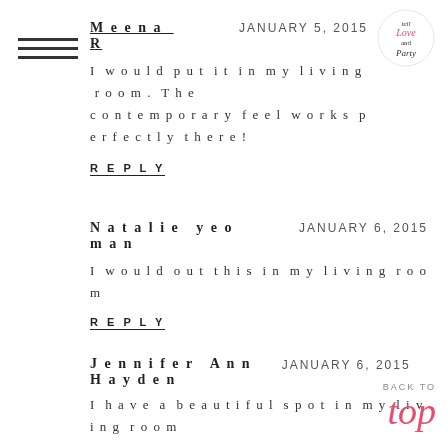[Figure (logo): Tell Love and Party logo in top right corner]
[Figure (illustration): Three horizontal hamburger menu lines in top left]
Meena R
JANUARY 5, 2015
I would put it in my living room. The contemporary feel works perfectly there!
REPLY
Natalie yeoman
JANUARY 6, 2015
I would out this in my living room
REPLY
Jennifer Ann
Hayden
JANUARY 6, 2015
I have a beautiful spot in my living room
BACK TO top